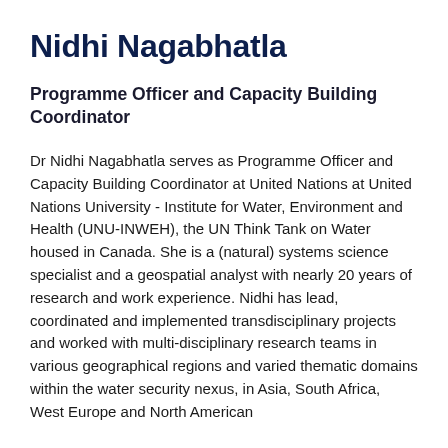Nidhi Nagabhatla
Programme Officer and Capacity Building Coordinator
Dr Nidhi Nagabhatla serves as Programme Officer and Capacity Building Coordinator at United Nations at United Nations University - Institute for Water, Environment and Health (UNU-INWEH), the UN Think Tank on Water housed in Canada. She is a (natural) systems science specialist and a geospatial analyst with nearly 20 years of research and work experience. Nidhi has lead, coordinated and implemented transdisciplinary projects and worked with multi-disciplinary research teams in various geographical regions and varied thematic domains within the water security nexus, in Asia, South Africa, West Europe and North American